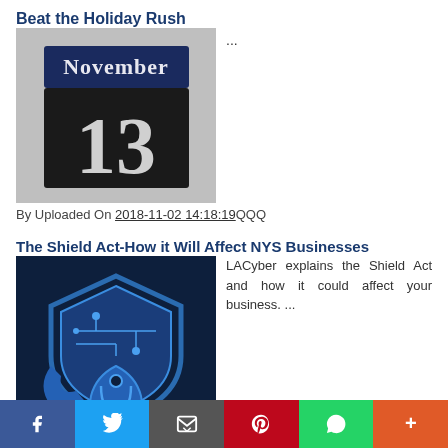Beat the Holiday Rush
[Figure (photo): Calendar blocks showing November 13]
...
By Uploaded On 2018-11-02 14:18:19QQQ
The Shield Act-How it Will Affect NYS Businesses
[Figure (logo): LACyber shield logo with circuit board pattern]
LACyber explains the Shield Act and how it could affect your business. ...
By Uploaded On 2018-10-26 13:06:52QQQ
f  Twitter  Email  Pinterest  WhatsApp  +